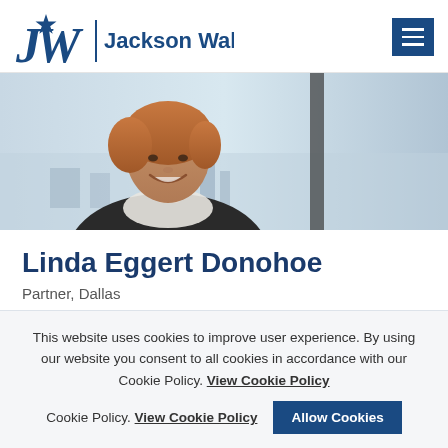JW | Jackson Walker
[Figure (photo): Professional headshot of Linda Eggert Donohoe, a woman with short auburn hair wearing a dark blazer over a white blouse, smiling, with a city skyline visible through a window behind her.]
Linda Eggert Donohoe
Partner, Dallas
This website uses cookies to improve user experience. By using our website you consent to all cookies in accordance with our Cookie Policy. View Cookie Policy   Allow Cookies